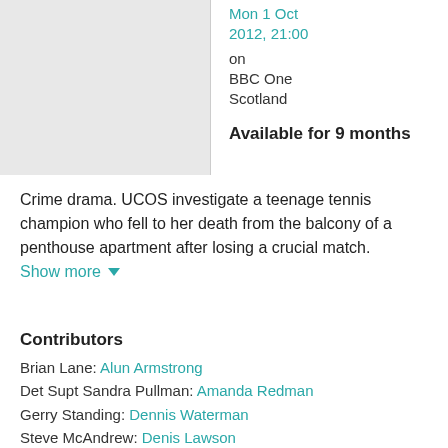[Figure (photo): TV show thumbnail image placeholder]
Mon 1 Oct 2012, 21:00 on BBC One Scotland
Available for 9 months
Crime drama. UCOS investigate a teenage tennis champion who fell to her death from the balcony of a penthouse apartment after losing a crucial match. Show more
Contributors
Brian Lane: Alun Armstrong
Det Supt Sandra Pullman: Amanda Redman
Gerry Standing: Dennis Waterman
Steve McAndrew: Denis Lawson
Esther Lane: Susan Jameson
Victoria Kemp: Tamzin Outhwaite